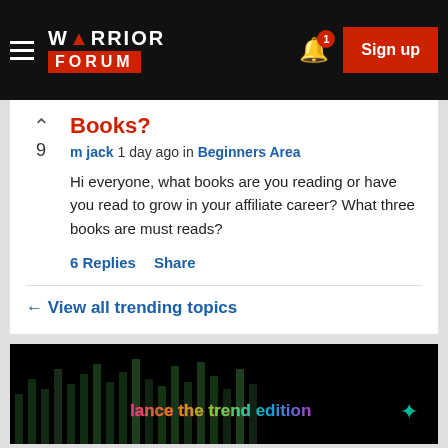Warrior Forum — Sign up
Books?
m jack 1 day ago in Beginners Area
Hi everyone, what books are you reading or have you read to grow in your affiliate career? What three books are must reads?
6 Replies   Share
← View all trending topics
[Figure (screenshot): Dark advertisement banner with colorful glowing text and a teal icon on the right]
Advertise with Us